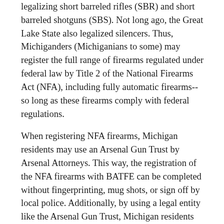legalizing short barreled rifles (SBR) and short barreled shotguns (SBS). Not long ago, the Great Lake State also legalized silencers. Thus, Michiganders (Michiganians to some) may register the full range of firearms regulated under federal law by Title 2 of the National Firearms Act (NFA), including fully automatic firearms--so long as these firearms comply with federal regulations.
When registering NFA firearms, Michigan residents may use an Arsenal Gun Trust by Arsenal Attorneys. This way, the registration of the NFA firearms with BATFE can be completed without fingerprinting, mug shots, or sign off by local police. Additionally, by using a legal entity like the Arsenal Gun Trust, Michigan residents may take advantage of ATF eFile. This relatively new system processes NFA tax stamps and registrations in as little as 1/4 of the normal time. Otherwise, tax stamps for NFA registrations made by an individual person could take as long as 12-14 months.
The Arsenal Gun Trust offers the added benefit of enabling the client to permit legal possesion of their NFA firearms by others